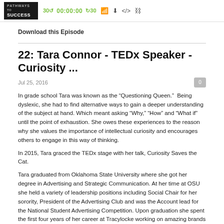[Figure (screenshot): Podcast player bar with Pathways to Success logo, playback controls showing 30 second skip back, 00:00:00 time, 30 second skip forward, and icons for RSS, download, embed, and settings]
Download this Episode
22: Tara Connor - TEDx Speaker - Curiosity ...
Jul 25, 2016
In grade school Tara was known as the "Questioning Queen."  Being dyslexic, she had to find alternative ways to gain a deeper understanding of the subject at hand. Which meant asking "Why," "How" and "What if" until the point of exhaustion. She owes these experiences to the reason why she values the importance of intellectual curiosity and encourages others to engage in this way of thinking.
In 2015, Tara graced the TEDx stage with her talk, Curiosity Saves the Cat.
Tara graduated from Oklahoma State University where she got her degree in Advertising and Strategic Communication. At her time at OSU she held a variety of leadership positions including Social Chair for her sorority, President of the Advertising Club and was the Account lead for the National Student Advertising Competition. Upon graduation she spent the first four years of her career at Tracylocke working on amazing brands like Pizza Hut, Samsung and Cattle Barons Ball. Tara has recently joined Bottle Rocket Studios, a mobile